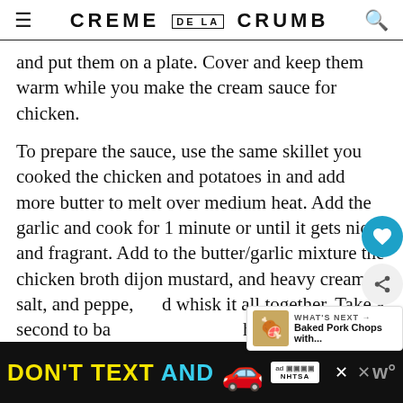CREME DE LA CRUMB
and put them on a plate. Cover and keep them warm while you make the cream sauce for chicken.
To prepare the sauce, use the same skillet you cooked the chicken and potatoes in and add more butter to melt over medium heat. Add the garlic and cook for 1 minute or until it gets nice and fragrant. Add to the butter/garlic mixture the chicken broth dijon mustard, and heavy cream, salt, and pepper, and whisk it all together. Take a second to bask in the heavenly scent of this sauce.
[Figure (screenshot): Advertisement banner: DON'T TEXT AND [car emoji] with NHTSA branding, with close buttons]